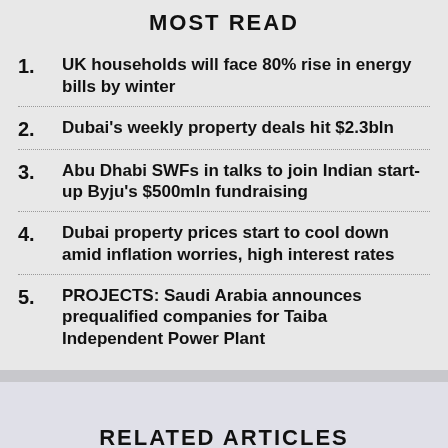MOST READ
1. UK households will face 80% rise in energy bills by winter
2. Dubai's weekly property deals hit $2.3bln
3. Abu Dhabi SWFs in talks to join Indian start-up Byju's $500mln fundraising
4. Dubai property prices start to cool down amid inflation worries, high interest rates
5. PROJECTS: Saudi Arabia announces prequalified companies for Taiba Independent Power Plant
RELATED ARTICLES